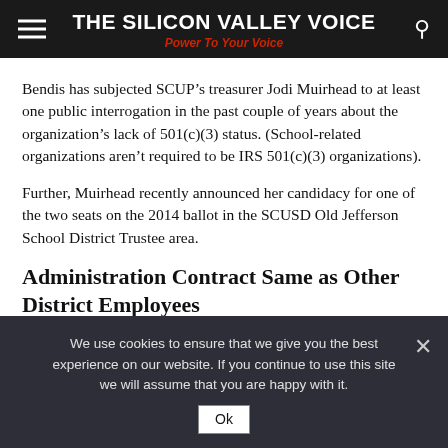THE SILICON VALLEY VOICE
Power To Your Voice
Bendis has subjected SCUP’s treasurer Jodi Muirhead to at least one public interrogation in the past couple of years about the organization’s lack of 501(c)(3) status. (School-related organizations aren’t required to be IRS 501(c)(3) organizations).
Further, Muirhead recently announced her candidacy for one of the two seats on the 2014 ballot in the SCUSD Old Jefferson School District Trustee area.
Administration Contract Same as Other District Employees
After a trip back to the drawing board, the district administration
We use cookies to ensure that we give you the best experience on our website. If you continue to use this site we will assume that you are happy with it.